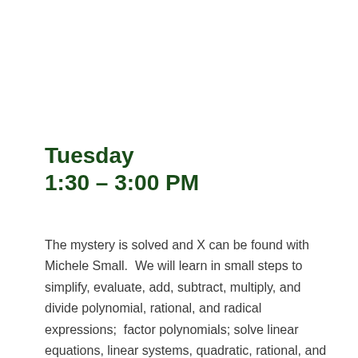Tuesday
1:30 – 3:00 PM
The mystery is solved and X can be found with Michele Small.  We will learn in small steps to simplify, evaluate, add, subtract, multiply, and divide polynomial, rational, and radical expressions;  factor polynomials; solve linear equations, linear systems, quadratic, rational, and radical equations and linear inequalities of one and two variables.  These techniques will then be used to solve